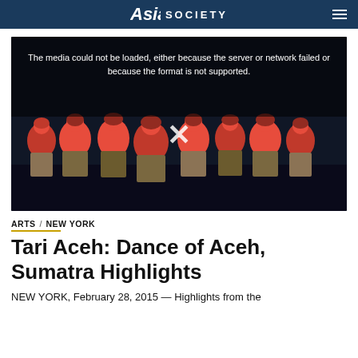Asia Society
[Figure (photo): Video player showing error message 'The media could not be loaded, either because the server or network failed or because the format is not supported.' with an X icon, overlaid on a photo of Indonesian dancers in traditional red and gold costumes performing Tari Aceh on a dark stage.]
ARTS / NEW YORK
Tari Aceh: Dance of Aceh, Sumatra Highlights
NEW YORK, February 28, 2015 — Highlights from the